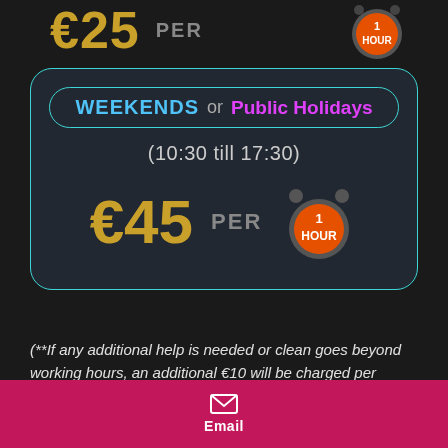€25 PER 1 HOUR
WEEKENDS or Public Holidays
(10:30 till 17:30)
€45 PER 1 HOUR
(**If any additional help is needed or clean goes beyond working hours, an additional €10 will be charged per hour**)
(**All weekend events need to be booked
Email